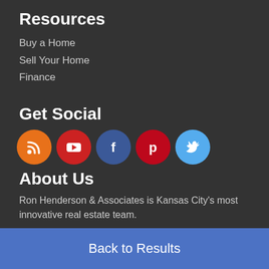Resources
Buy a Home
Sell Your Home
Finance
Get Social
[Figure (infographic): Row of five social media icon buttons: RSS (orange), YouTube (red), Facebook (dark blue), Pinterest (red), Twitter (light blue)]
About Us
Ron Henderson & Associates is Kansas City's most innovative real estate team.
Ron Henderson & Associates
Keller Williams Northland Partners
851 NW 45th Street, Kansas City, MO 64116
phone: 816.268.9000
Back to Results